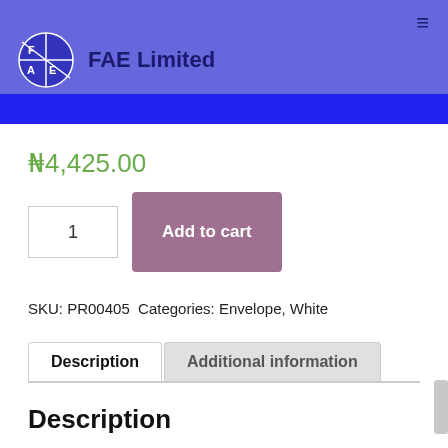FAE Limited
₦4,425.00
1   Add to cart
SKU: PR00405  Categories: Envelope, White
Description   Additional information
Description